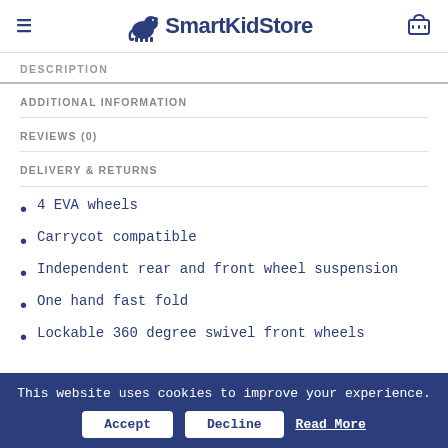SmartKidStore
DESCRIPTION
ADDITIONAL INFORMATION
REVIEWS (0)
DELIVERY & RETURNS
4 EVA wheels
Carrycot compatible
Independent rear and front wheel suspension
One hand fast fold
Lockable 360 degree swivel front wheels
This website uses cookies to improve your experience. Accept Decline Read More